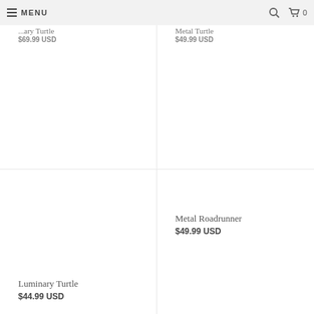MENU
Metal Turtle
$69.99 USD
Metal Turtle
$49.99 USD
Luminary Turtle
$44.99 USD
Metal Roadrunner
$49.99 USD